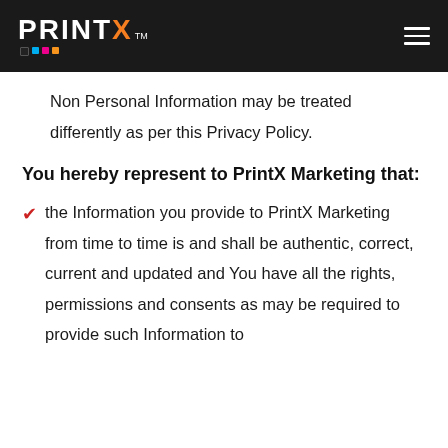PrintX™ — navigation header with logo and hamburger menu
Non Personal Information may be treated differently as per this Privacy Policy.
You hereby represent to PrintX Marketing that:
the Information you provide to PrintX Marketing from time to time is and shall be authentic, correct, current and updated and You have all the rights, permissions and consents as may be required to provide such Information to